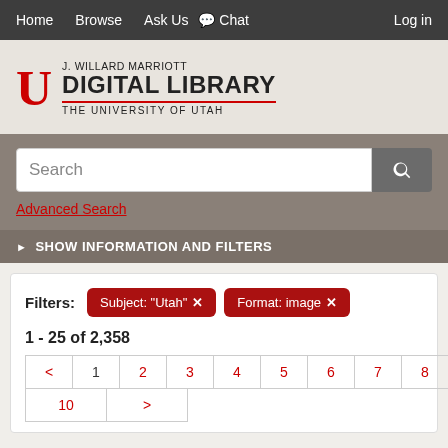Home   Browse   Ask Us   Chat   Log in
[Figure (logo): J. Willard Marriott Digital Library, The University of Utah logo with red U block letter]
Search
Advanced Search
SHOW INFORMATION AND FILTERS
Filters: Subject: "Utah" ✕   Format: image ✕
1 - 25 of 2,358
< 1 2 3 4 5 6 7 8 9
10 >